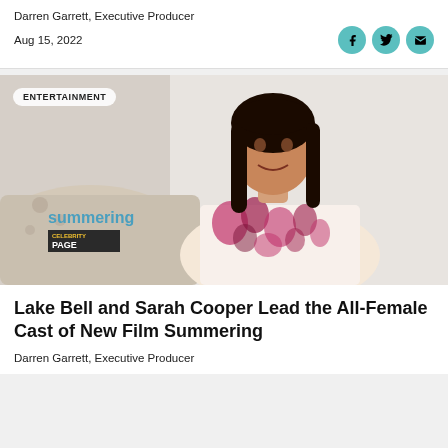Darren Garrett, Executive Producer
Aug 15, 2022
[Figure (photo): A woman with long dark hair wearing a floral pink top sitting in front of a light background. Lower left shows 'summering' text in blue and a Celebrity Page logo.]
Lake Bell and Sarah Cooper Lead the All-Female Cast of New Film Summering
Darren Garrett, Executive Producer